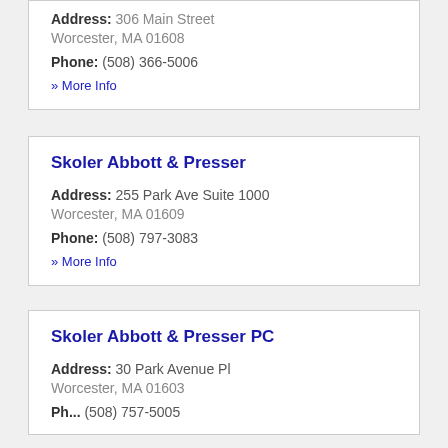Address: 306 Main Street Worcester, MA 01608 Phone: (508) 366-5006
» More Info
Skoler Abbott & Presser
Address: 255 Park Ave Suite 1000 Worcester, MA 01609 Phone: (508) 797-3083
» More Info
Skoler Abbott & Presser PC
Address: 30 Park Avenue Pl Worcester, MA 01603
Ph... (508) 757-5005